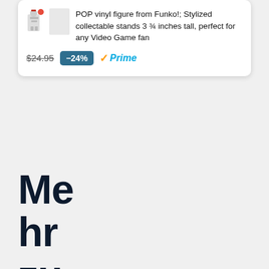POP vinyl figure from Funko!; Stylized collectable stands 3 ¾ inches tall, perfect for any Video Game fan
$24.95 -24% Prime
Mehr zum The